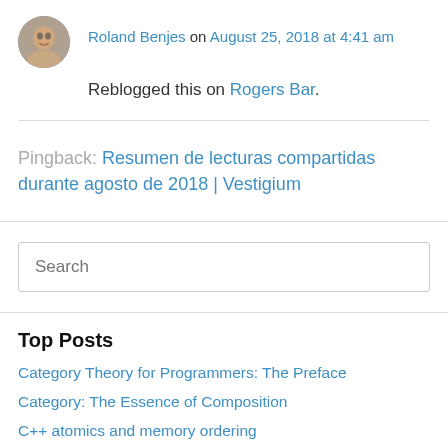Roland Benjes on August 25, 2018 at 4:41 am
Reblogged this on Rogers Bar.
Pingback: Resumen de lecturas compartidas durante agosto de 2018 | Vestigium
Search
Top Posts
Category Theory for Programmers: The Preface
Category: The Essence of Composition
C++ atomics and memory ordering